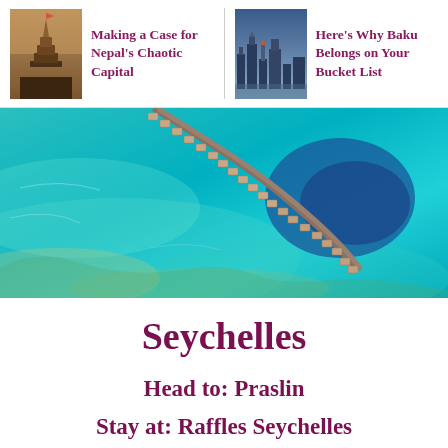[Figure (photo): Thumbnail photo of Nepal temple/pagoda for header link]
Making a Case for Nepal's Chaotic Capital
[Figure (photo): Thumbnail photo of Baku city skyline for header link]
Here's Why Baku Belongs on Your Bucket List
[Figure (photo): Aerial photo of Seychelles overwater bungalow resort on turquoise lagoon]
Seychelles
Head to: Praslin
Stay at: Raffles Seychelles
Why Visit?